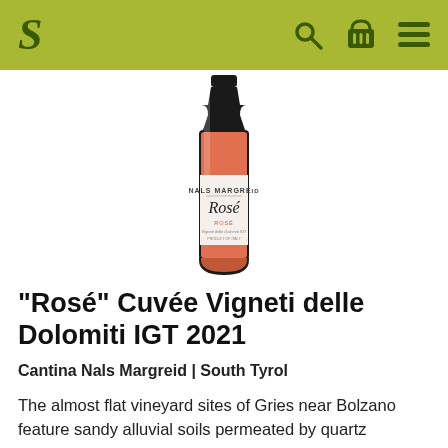S [search icon] [basket icon] [menu icon]
[Figure (photo): A bottle of Nals Margreid Rosé wine with an orange-pink wine visible inside the bottle, white label reading 'NALS MARGREID Rosé ROSE Vigneti delle Dolomiti IGT']
"Rosé" Cuvée Vigneti delle Dolomiti IGT 2021
Cantina Nals Margreid | South Tyrol
The almost flat vineyard sites of Gries near Bolzano feature sandy alluvial soils permeated by quartz